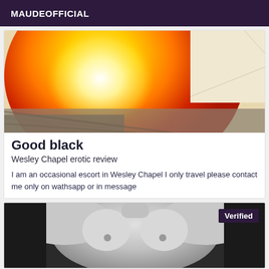MAUDEOFFICIAL
[Figure (photo): Close-up photo of orange and red balloon with bright light reflection, rope or chain visible at bottom]
Good black
Wesley Chapel erotic review
I am an occasional escort in Wesley Chapel I only travel please contact me only on wathsapp or in message
[Figure (photo): Black and white photo of female torso with Verified badge overlay in top right corner]